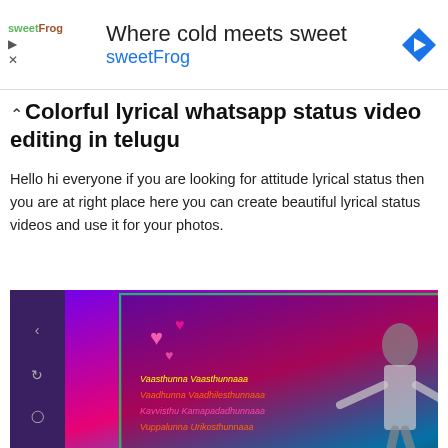[Figure (screenshot): Advertisement banner for sweetFrog with text 'Where cold meets sweet sweetFrog' and a blue diamond navigation arrow icon]
Colorful lyrical whatsapp status video editing in telugu
Hello hi everyone if you are looking for attitude lyrical status then you are at right place here you can create beautiful lyrical status videos and use it for your photos.
[Figure (screenshot): Screenshot of a video editing app (KineMaster) showing a lyrical whatsapp status video in Telugu with colorful neon hearts and text, showing a man posing. The app interface shows Media, Layer, Audio, Rec buttons and thumbnail previews at the bottom.]